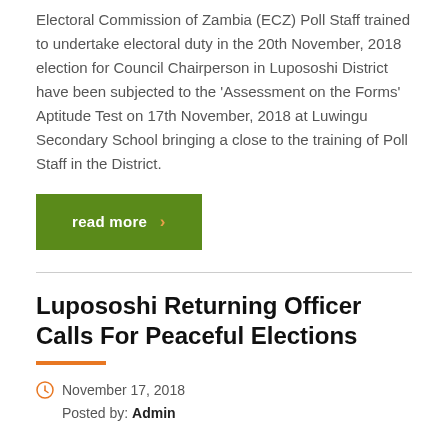Electoral Commission of Zambia (ECZ) Poll Staff trained to undertake electoral duty in the 20th November, 2018 election for Council Chairperson in Lupososhi District have been subjected to the 'Assessment on the Forms' Aptitude Test on 17th November, 2018 at Luwingu Secondary School bringing a close to the training of Poll Staff in the District.
read more
Lupososhi Returning Officer Calls For Peaceful Elections
November 17, 2018
Posted by: Admin